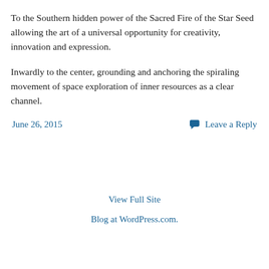To the Southern hidden power of the Sacred Fire of the Star Seed allowing the art of a universal opportunity for creativity, innovation and expression.
Inwardly to the center, grounding and anchoring the spiraling movement of space exploration of inner resources as a clear channel.
June 26, 2015
Leave a Reply
View Full Site
Blog at WordPress.com.